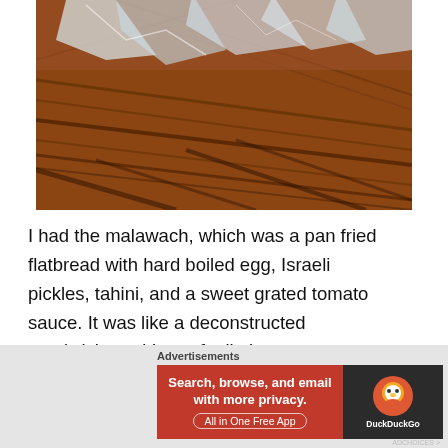[Figure (photo): Close-up photo of a wooden floor with dark grain lines, with crinkled clear plastic wrap visible at the top of the frame.]
I had the malawach, which was a pan fried flatbread with hard boiled egg, Israeli pickles, tahini, and a sweet grated tomato sauce. It was like a deconstructed sandwich, and I was feelin it.
Advertisements
[Figure (screenshot): DuckDuckGo advertisement banner. Left side has red background with text: 'Search, browse, and email with more privacy. All in One Free App'. Right side has dark background with DuckDuckGo duck logo and 'DuckDuckGo' text.]